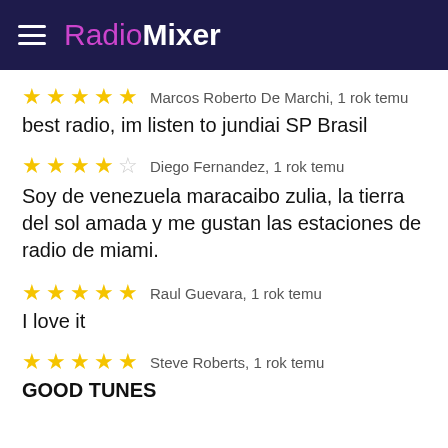RadioMixer
★★★★★ Marcos Roberto De Marchi, 1 rok temu
best radio, im listen to jundiai SP Brasil
★★★★☆ Diego Fernandez, 1 rok temu
Soy de venezuela maracaibo zulia, la tierra del sol amada y me gustan las estaciones de radio de miami.
★★★★★ Raul Guevara, 1 rok temu
I love it
★★★★★ Steve Roberts, 1 rok temu
GOOD TUNES